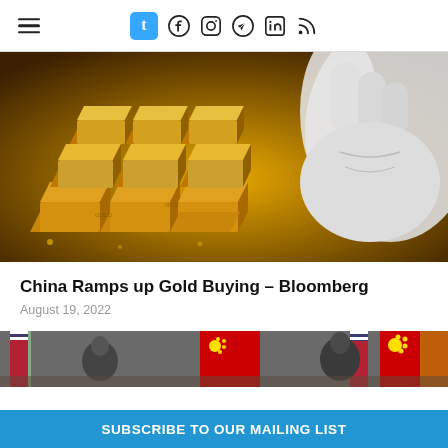Navigation header with hamburger menu and social icons (Tumblr, Facebook, Instagram, Telegram, LinkedIn, RSS)
[Figure (photo): Stacked gold bars being handled by gloved hand, close-up photograph]
China Ramps up Gold Buying – Bloomberg
August 19, 2022
[Figure (photo): Partial view of people in front of US and Chinese flags, diplomatic meeting context]
SUBSCRIBE TO OUR MAILING LIST